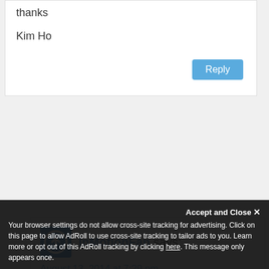thanks
Kim Ho
InMotionFan says:
August 13, 2014 at 7:29 pm
Could you clarify what exactly you see?
Accept and Close
Your browser settings do not allow cross-site tracking for advertising. Click on this page to allow AdRoll to use cross-site tracking to tailor ads to you. Learn more or opt out of this AdRoll tracking by clicking here. This message only appears once.